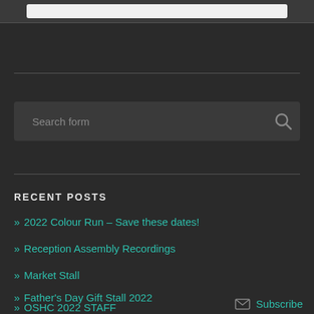RECENT POSTS
» 2022 Colour Run – Save these dates!
» Reception Assembly Recordings
» Market Stall
» Father's Day Gift Stall 2022
» OSHC 2022 STAFF
Subscribe